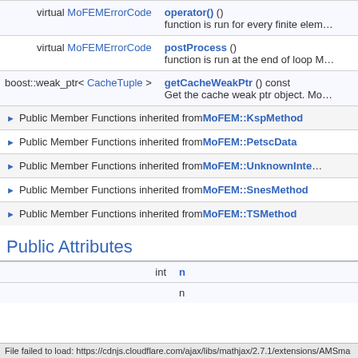| Type | Function/Description |
| --- | --- |
| virtual MoFEMErrorCode | operator() ()
function is run for every finite elem... |
| virtual MoFEMErrorCode | postProcess ()
function is run at the end of loop M... |
| boost::weak_ptr< CacheTuple > | getCacheWeakPtr () const
Get the cache weak ptr object. Mo... |
Public Member Functions inherited from MoFEM::KspMethod
Public Member Functions inherited from MoFEM::PetscData
Public Member Functions inherited from MoFEM::UnknownInte...
Public Member Functions inherited from MoFEM::SnesMethod
Public Member Functions inherited from MoFEM::TSMethod
Public Attributes
| Type | Name |
| --- | --- |
| int | n... |
|  | n... |
File failed to load: https://cdnjs.cloudflare.com/ajax/libs/mathjax/2.7.1/extensions/AMSma